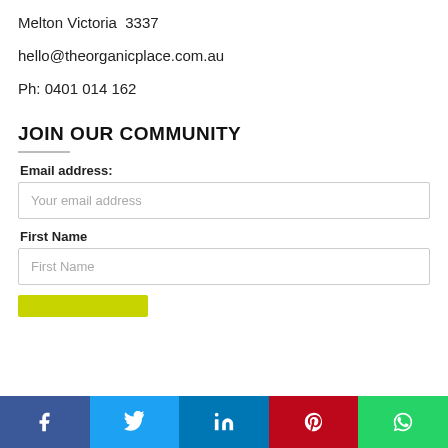Melton Victoria  3337
hello@theorganicplace.com.au
Ph: 0401 014 162
JOIN OUR COMMUNITY
Email address:
Your email address
First Name
First Name